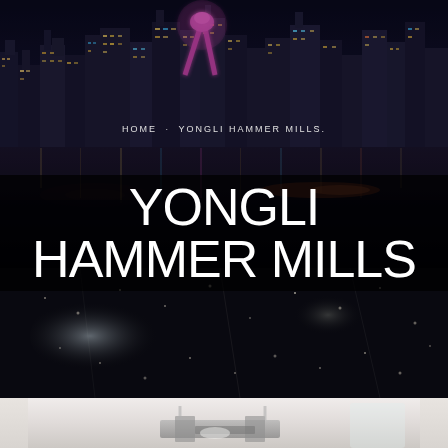[Figure (photo): Night city skyline with illuminated skyscrapers, a large pink/magenta sculpture or structure visible in the center, reflections on water below, colorful city lights]
HOME · YONGLI HAMMER MILLS.
YONGLI HAMMER MILLS
[Figure (photo): Dark background with dust particles and blurred light streaks, suggesting machinery or milling process in action]
[Figure (photo): Light-colored product photo showing industrial machinery equipment, partially visible at bottom of page]